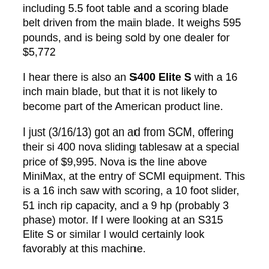including 5.5 foot table and a scoring blade belt driven from the main blade. It weighs 595 pounds, and is being sold by one dealer for $5,772
I hear there is also an S400 Elite S with a 16 inch main blade, but that it is not likely to become part of the American product line.
I just (3/16/13) got an ad from SCM, offering their si 400 nova sliding tablesaw at a special price of $9,995. Nova is the line above MiniMax, at the entry of SCMI equipment. This is a 16 inch saw with scoring, a 10 foot slider, 51 inch rip capacity, and a 9 hp (probably 3 phase) motor. If I were looking at an S315 Elite S or similar I would certainly look favorably at this machine.
Saw Shaper combinations
Initially I thought this would be an ideal machine, since the shaper could use the same sliding table as the saw. However, setting up the shaper hood is time consuming - the only change-over I find inconvenient in the combination machine world where I routinely work. The shaper spindle is also a long way from the slider, so I rarely actually used the slider with that shaper. Your